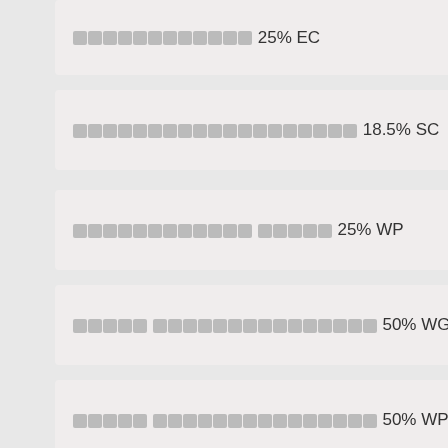████████████ 25% EC
███████████████████ 18.5% SC
████████████ █████ 25% WP
█████ ███████████████ 50% WG
█████ ███████████████ 50% WP
████████████ 18.5% EC
██████████████ 30% EC
████████████████ 10% EC
██████████████ 0.3% ██
████████████████ 20.2% SL